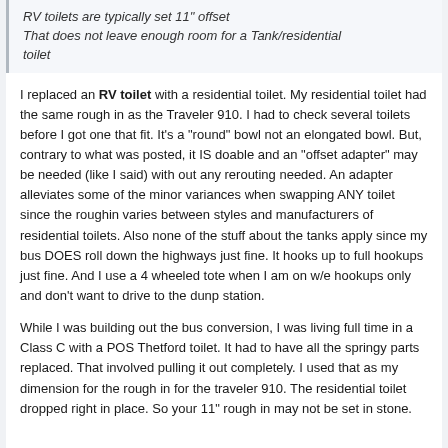RV toilets are typically set 11" offset
That does not leave enough room for a Tank/residential toilet
I replaced an RV toilet with a residential toilet. My residential toilet had the same rough in as the Traveler 910. I had to check several toilets before I got one that fit. It's a "round" bowl not an elongated bowl. But, contrary to what was posted, it IS doable and an "offset adapter" may be needed (like I said) with out any rerouting needed. An adapter alleviates some of the minor variances when swapping ANY toilet since the roughin varies between styles and manufacturers of residential toilets. Also none of the stuff about the tanks apply since my bus DOES roll down the highways just fine. It hooks up to full hookups just fine. And I use a 4 wheeled tote when I am on w/e hookups only and don't want to drive to the dunp station.
While I was building out the bus conversion, I was living full time in a Class C with a POS Thetford toilet. It had to have all the springy parts replaced. That involved pulling it out completely. I used that as my dimension for the rough in for the traveler 910. The residential toilet dropped right in place. So your 11" rough in may not be set in stone.